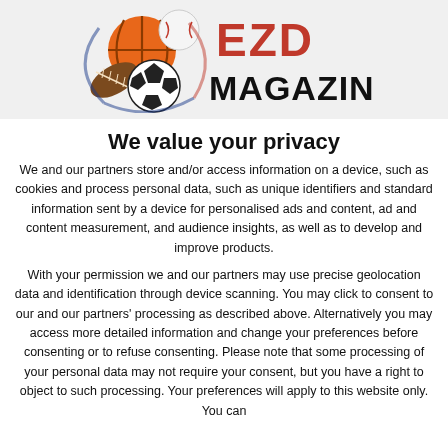[Figure (logo): EZD Magazine logo with sports balls (basketball, baseball, football, soccer ball) on left and stylized red/black text 'EZD MAGAZINE' on right]
We value your privacy
We and our partners store and/or access information on a device, such as cookies and process personal data, such as unique identifiers and standard information sent by a device for personalised ads and content, ad and content measurement, and audience insights, as well as to develop and improve products.
With your permission we and our partners may use precise geolocation data and identification through device scanning. You may click to consent to our and our partners' processing as described above. Alternatively you may access more detailed information and change your preferences before consenting or to refuse consenting. Please note that some processing of your personal data may not require your consent, but you have a right to object to such processing. Your preferences will apply to this website only. You can